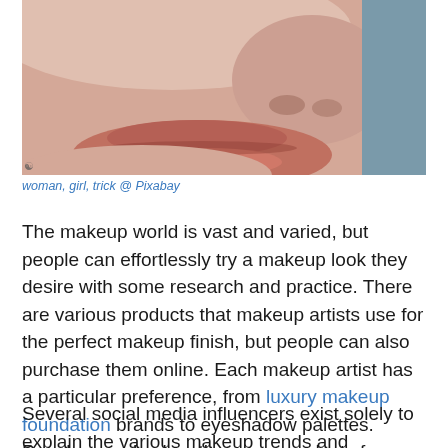[Figure (photo): Close-up photo of a woman's face showing nose and lips, with a blue-grey background. Only the lower half of the face is visible.]
woman, girl, trick @ Pixabay
The makeup world is vast and varied, but people can effortlessly try a makeup look they desire with some research and practice. There are various products that makeup artists use for the perfect makeup finish, but people can also purchase them online. Each makeup artist has a particular preference, from luxury makeup foundation brands to eyeshadow palettes. People can also buy the same products from various online beauty stores.
Several social media influencers exist solely to explain the various makeup trends and products, and they help